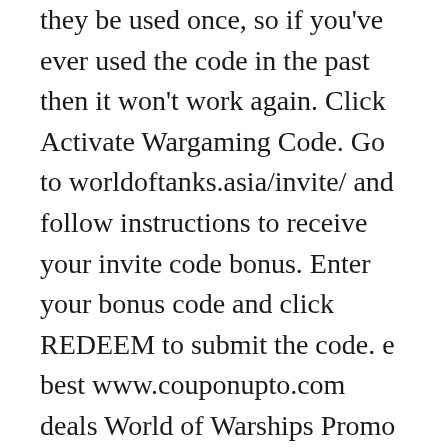they be used once, so if you've ever used the code in the past then it won't work again. Click Activate Wargaming Code. Go to worldoftanks.asia/invite/ and follow instructions to receive your invite code bonus. Enter your bonus code and click REDEEM to submit the code. e best www.couponupto.com deals World of Warships Promo Code 2020 go to eu.wargaming.net Total 22 active eu.wargaming.net Promotion Codes & Deals are listed and the latest one is updated on … This way you will benefit from both codes! 2.1.1 Event Bonus Codes; 2.2 Wargaming Invite Codes List 2020; 3 How to Redeem Wargaming Codes for World of Tanks? Step 3: When code appears on the card, please, enter it. Using these rewards you can purchase different items. !eval(ez_write_tag([[580,400],'techinow_com-medrectangle-3','ezslot_2',104,'0','0'])); World of Tanks Wargaming Codes are a set of promo codes released from time to time by